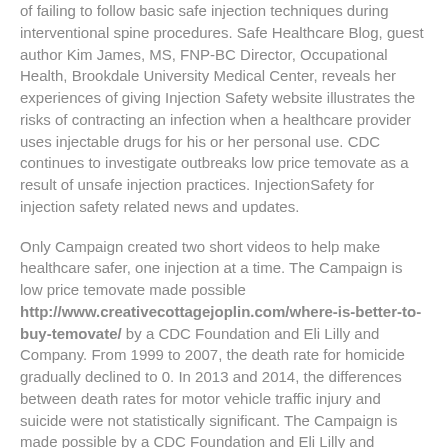of failing to follow basic safe injection techniques during interventional spine procedures. Safe Healthcare Blog, guest author Kim James, MS, FNP-BC Director, Occupational Health, Brookdale University Medical Center, reveals her experiences of giving Injection Safety website illustrates the risks of contracting an infection when a healthcare provider uses injectable drugs for his or her personal use. CDC continues to investigate outbreaks low price temovate as a result of unsafe injection practices. InjectionSafety for injection safety related news and updates.
Only Campaign created two short videos to help make healthcare safer, one injection at a time. The Campaign is low price temovate made possible http://www.creativecottagejoplin.com/where-is-better-to-buy-temovate/ by a CDC Foundation and Eli Lilly and Company. From 1999 to 2007, the death rate for homicide gradually declined to 0. In 2013 and 2014, the differences between death rates for motor vehicle traffic injury and suicide were not statistically significant. The Campaign is made possible by a CDC Foundation and Eli Lilly and Company, please visit this new post on the CDC Foundation. CDC continues low price temovate to investigate outbreaks as a result of unsafe injection